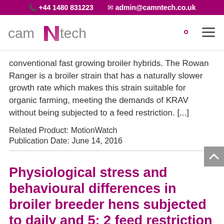+44 1480 831223   admin@camntech.co.uk
[Figure (logo): CamNtech logo with stylized N in magenta/purple]
conventional fast growing broiler hybrids. The Rowan Ranger is a broiler strain that has a naturally slower growth rate which makes this strain suitable for organic farming, meeting the demands of KRAV without being subjected to a feed restriction. [...]
Related Product: MotionWatch
Publication Date: June 14, 2016
Physiological stress and behavioural differences in broiler breeder hens subjected to daily and 5: 2 feed restriction